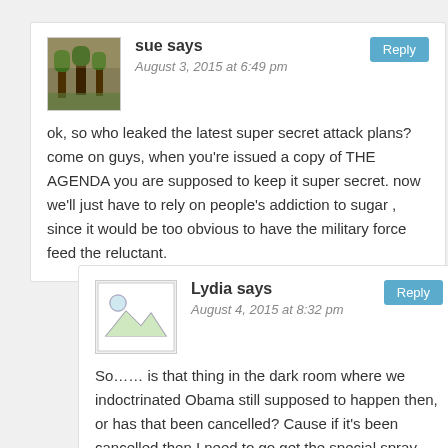sue says
August 3, 2015 at 6:49 pm
ok, so who leaked the latest super secret attack plans? come on guys, when you’re issued a copy of THE AGENDA you are supposed to keep it super secret. now we’ll just have to rely on people’s addiction to sugar , since it would be too obvious to have the military force feed the reluctant.
Lydia says
August 4, 2015 at 8:32 pm
So….. is that thing in the dark room where we indoctrinated Obama still supposed to happen then, or has that been cancelled? Cause if it’s been cancelled then I need to go get the special spray that we put on our hands to give young, christian men the urge to masturbate to images